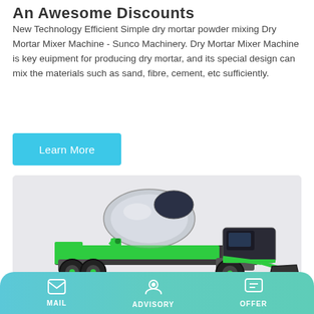An Awesome Discounts
New Technology Efficient Simple dry mortar powder mixing Dry Mortar Mixer Machine - Sunco Machinery. Dry Mortar Mixer Machine is key euipment for producing dry mortar, and its special design can mix the materials such as sand, fibre, cement, etc sufficiently.
Learn More
[Figure (photo): Green self-loading concrete mixer truck with a large rotating drum and front bucket loader, shown on white/light grey background.]
MAIL   ADVISORY   OFFER